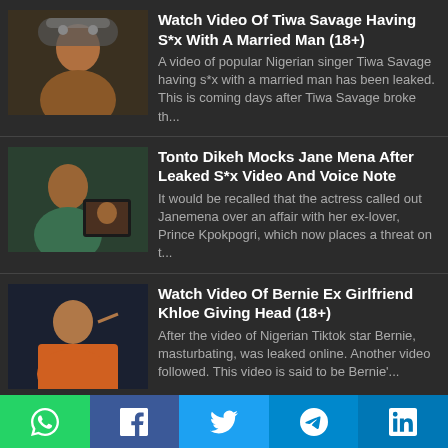[Figure (photo): Thumbnail of Tiwa Savage for article 1]
Watch Video Of Tiwa Savage Having S*x With A Married Man (18+)
A video of popular Nigerian singer Tiwa Savage having s*x with a married man has been leaked. This is coming days after Tiwa Savage broke th...
[Figure (photo): Thumbnail of Tonto Dikeh for article 2]
Tonto Dikeh Mocks Jane Mena After Leaked S*x Video And Voice Note
It would be recalled that the actress called out Janemena over an affair with her ex-lover, Prince Kpokpogri, which now places a threat on t...
[Figure (photo): Thumbnail of Khloe for article 3]
Watch Video Of Bernie Ex Girlfriend Khloe Giving Head (18+)
After the video of Nigerian Tiktok star Bernie, masturbating, was leaked online. Another video followed. This video is said to be Bernie'...
[Figure (photo): Thumbnail for Ofego article 4]
LISTEN: Ofego Releases Long-Awaited Single ‘Don Jazzy’
Following the success of his debut EP 'Rhythm Of...